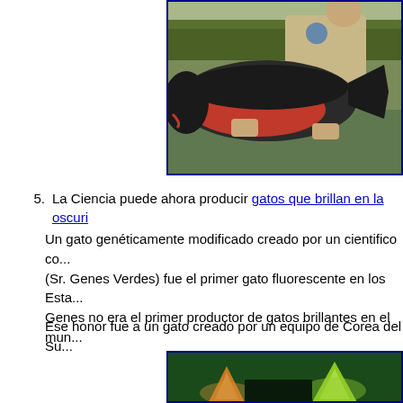[Figure (photo): Person holding a large fish (appears to be a chinook salmon with red coloring) near a river, wearing a uniform with a patch. Trees visible in background.]
5. La Ciencia puede ahora producir gatos que brillan en la oscuri...
Un gato genéticamente modificado creado por un cientifico co... (Sr. Genes Verdes) fue el primer gato fluorescente en los Esta... Genes no era el primer productor de gatos brillantes en el mun...
Ese honor fue a un gato creado por un equipo de Corea del Su...
[Figure (photo): Glowing cat photographed in the dark, showing fluorescent orange/green coloring against a dark green background.]